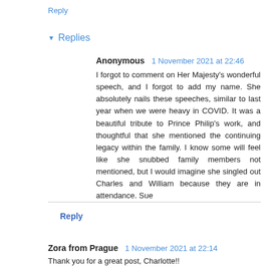Reply
▾ Replies
Anonymous  1 November 2021 at 22:46
I forgot to comment on Her Majesty's wonderful speech, and I forgot to add my name. She absolutely nails these speeches, similar to last year when we were heavy in COVID. It was a beautiful tribute to Prince Philip's work, and thoughtful that she mentioned the continuing legacy within the family. I know some will feel like she snubbed family members not mentioned, but I would imagine she singled out Charles and William because they are in attendance. Sue
Reply
Zora from Prague  1 November 2021 at 22:14
Thank you for a great post, Charlotte!!